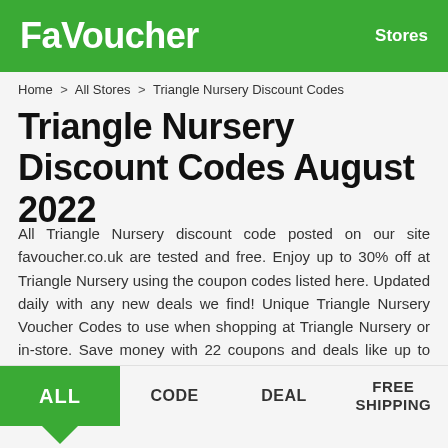FaVoucher   Stores
Home > All Stores > Triangle Nursery Discount Codes
Triangle Nursery Discount Codes August 2022
All Triangle Nursery discount code posted on our site favoucher.co.uk are tested and free. Enjoy up to 30% off at Triangle Nursery using the coupon codes listed here. Updated daily with any new deals we find! Unique Triangle Nursery Voucher Codes to use when shopping at Triangle Nursery or in-store. Save money with 22 coupons and deals like up to 30% off select items. Great chance to save money with our Triangle Nursery Discount Codes.
ALL
CODE
DEAL
FREE SHIPPING